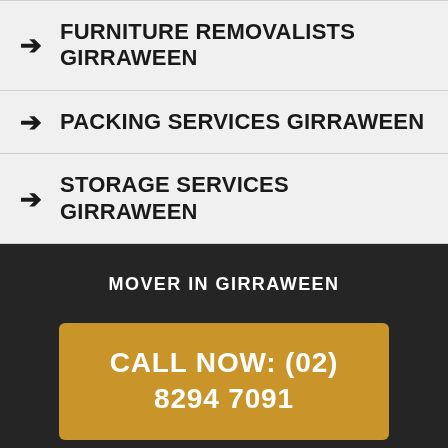FURNITURE REMOVALISTS GIRRAWEEN
PACKING SERVICES GIRRAWEEN
STORAGE SERVICES GIRRAWEEN
MOVER IN GIRRAWEEN
CALL NOW: (02) 8294 7091